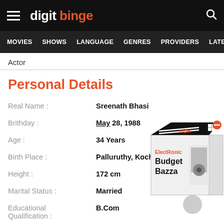digit binge
MOVIES  SHOWS  LANGUAGE  GENRES  PROVIDERS  LATE
Actor
Personal Details
| Field | Value |
| --- | --- |
| Real Name : | Sreenath Bhasi |
| Brithday : | May 28, 1988 |
| Age : | 34 Years |
| Birth Place : | Palluruthy, Kochi, Kerala, India |
| Height : | 172 cm |
| Marital Status : | Married |
| Educational Qualification : | B.Com |
| Zodiac Sign : | Gemini |
| Nationality : | Indian |
[Figure (illustration): Advertisement box for Electronic Budget Bazar with a red minus button and product images]